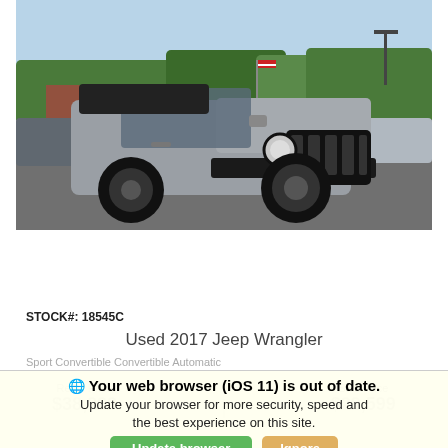[Figure (photo): Photo of a silver 2017 Jeep Wrangler in a car dealership parking lot. An American flag is visible on the vehicle. Other cars and trees visible in background.]
STOCK#: 18545C
Used 2017 Jeep Wrangler
Sport Convertible Convertible Automatic
Retail Price $38,999 | Sale Price $29,599
Your web browser (iOS 11) is out of date. Update your browser for more security, speed and the best experience on this site.
Update browser
Ignore